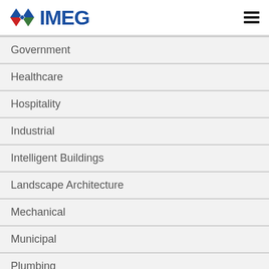[Figure (logo): IMEG logo with diamond-shaped icon in blue, red, and green, followed by IMEG text in dark blue]
Government
Healthcare
Hospitality
Industrial
Intelligent Buildings
Landscape Architecture
Mechanical
Municipal
Plumbing
Podcast